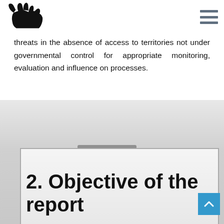Logo and navigation menu
threats in the absence of access to territories not under governmental control for appropriate monitoring, evaluation and influence on processes.
2. Objective of the report